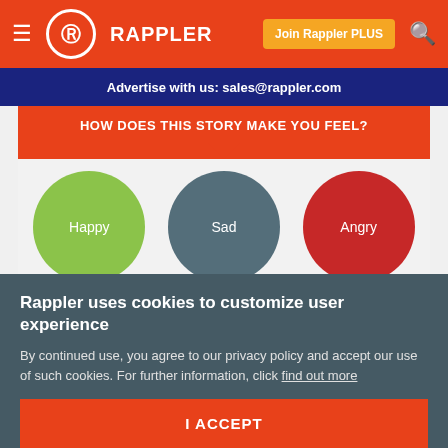≡ RAPPLER  |  Join Rappler PLUS  🔍
Advertise with us: sales@rappler.com
HOW DOES THIS STORY MAKE YOU FEEL?
[Figure (infographic): Six emotion circles: Happy (green), Sad (dark teal), Angry (red), Don't Care (gray), Inspired (green), Afraid (yellow-green)]
Rappler uses cookies to customize user experience
By continued use, you agree to our privacy policy and accept our use of such cookies. For further information, click find out more
I ACCEPT